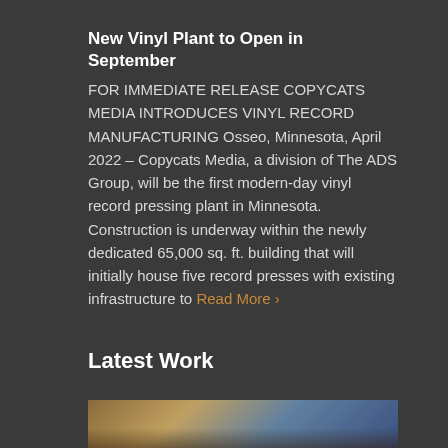New Vinyl Plant to Open in September
FOR IMMEDIATE RELEASE COPYCATS MEDIA INTRODUCES VINYL RECORD MANUFACTURING Osseo, Minnesota, April 2022 – Copycats Media, a division of The ADS Group, will be the first modern-day vinyl record pressing plant in Minnesota. Construction is underway within the newly dedicated 65,000 sq. ft. building that will initially house five record presses with existing infrastructure to Read More ›
Latest Work
[Figure (photo): Photo of printed materials/booklets on a wooden surface, partially visible at bottom of page]